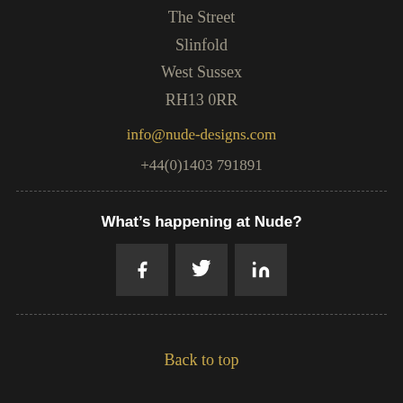The Street
Slinfold
West Sussex
RH13 0RR
info@nude-designs.com
+44(0)1403 791891
What's happening at Nude?
[Figure (infographic): Three social media icon buttons: Facebook (f), Twitter (bird), LinkedIn (in)]
Back to top